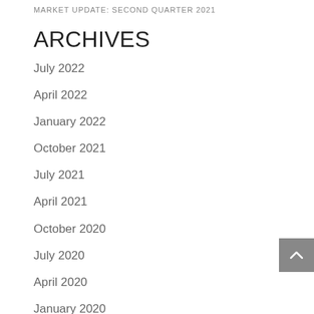MARKET UPDATE: SECOND QUARTER 2021
ARCHIVES
July 2022
April 2022
January 2022
October 2021
July 2021
April 2021
October 2020
July 2020
April 2020
January 2020
December 2019